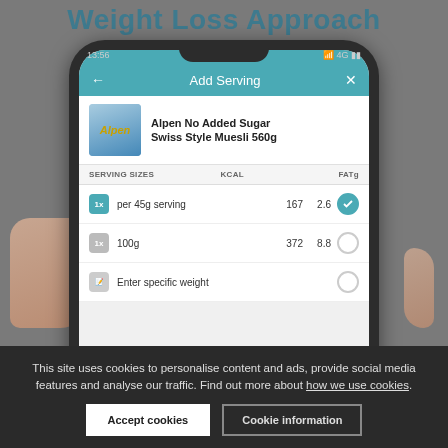Weight Loss Approach
[Figure (screenshot): A smartphone displaying a food logging app showing 'Add Serving' screen for Alpen No Added Sugar Swiss Style Muesli 560g, with serving size options: per 45g serving (167 kcal, 2.6g fat), 100g (372 kcal, 8.8g fat), and Enter specific weight.]
This site uses cookies to personalise content and ads, provide social media features and analyse our traffic. Find out more about how we use cookies.
Accept cookies
Cookie information